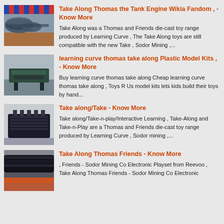[Figure (photo): Industrial machinery with spiral/screw conveyor components, outdoor setting with colorful striped cover]
Take Along Thomas the Tank Engine Wikia Fandom , - Know More
Take Along was a Thomas and Friends die-cast toy range produced by Learning Curve , The Take Along toys are still compatible with the new Take , Sodor Mining ,...
[Figure (photo): Industrial machine in a factory/warehouse setting]
learning curve thomas take along Plastic Model Kits , - Know More
Buy learning curve thomas take along Cheap learning curve thomas take along , Toys R Us model kits lets kids build their toys by hand...
[Figure (photo): Dark industrial machine or equipment unit]
Take along/Take - Know More
Take along/Take-n-play/Interactive Learning , Take-Along and Take-n-Play are a Thomas and Friends die-cast toy range produced by Learning Curve , Sodor mining ,...
[Figure (photo): Close-up of dark cylindrical industrial objects/pipes]
Take Along Thomas Friends - Know More
, Friends - Sodor Mining Co Electronic Playset from Reevoo , Take Along Thomas Friends - Sodor Mining Co Electronic